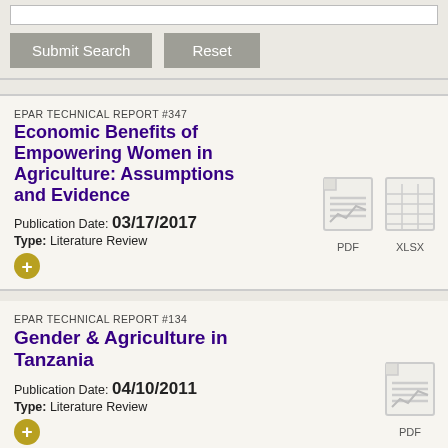Submit Search | Reset
EPAR TECHNICAL REPORT #347
Economic Benefits of Empowering Women in Agriculture: Assumptions and Evidence
Publication Date: 03/17/2017
Type: Literature Review
[Figure (other): PDF and XLSX file download icons]
EPAR TECHNICAL REPORT #134
Gender & Agriculture in Tanzania
Publication Date: 04/10/2011
Type: Literature Review
[Figure (other): PDF file download icon]